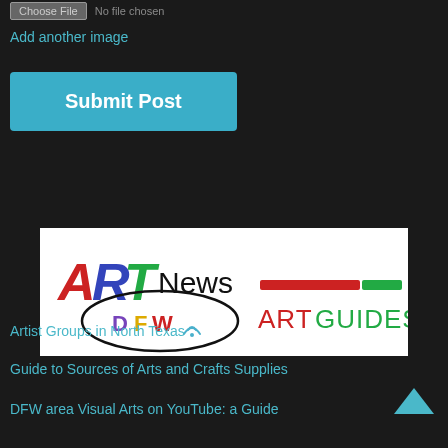Choose File  No file chosen
Add another image
Submit Post
[Figure (logo): ART News DFW Art Guides logo on white background with red and green horizontal bars]
Artist Groups in North Texas
Guide to Sources of Arts and Crafts Supplies
DFW area Visual Arts on YouTube: a Guide